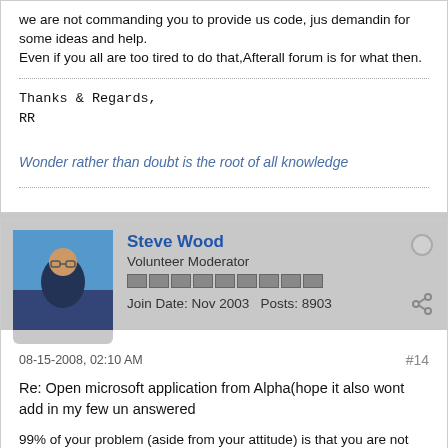we are not commanding you to provide us code, jus demandin for some ideas and help.
Even if you all are too tired to do that,Afterall forum is for what then.
Thanks & Regards,
RR
Wonder rather than doubt is the root of all knowledge
Steve Wood
Volunteer Moderator
Join Date: Nov 2003   Posts: 8903
08-15-2008, 02:10 AM
#14
Re: Open microsoft application from Alpha(hope it also wont add in my few un answered
99% of your problem (aside from your attitude) is that you are not taking the time to appreciate and learn Alpha Five. You are treating it like some other development product perhaps more familiar to you. Your pages are blowing up most likely because you are filling them with javascript and other code that the WYSIWYG HTML editor